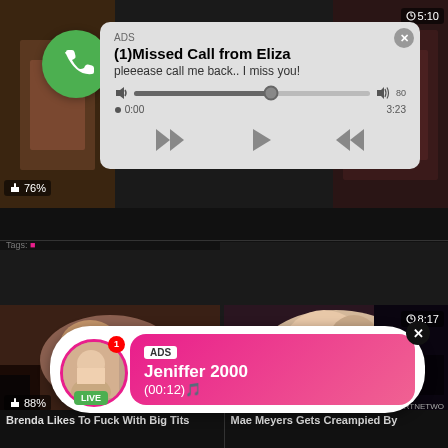[Figure (screenshot): Adult video website with overlaid ad pop-ups. Top ad shows a fake missed call notification with WhatsApp-style icon, title '(1)Missed Call from Eliza', subtitle 'pleeease call me back.. I miss you!', audio player controls, timestamps 0:00 and 3:23. Bottom-left ad shows a live notification with a woman's avatar, green LIVE badge, pink ADS bubble with 'Jeniffer 2000' and duration '(00:12)'. Background shows adult video thumbnails with like percentages and video durations. Bottom shows thumbnail titles 'Brenda Likes To Fuck With Big Tits' and 'Mae Meyers Gets Creampied By'.]
ADS
(1)Missed Call from Eliza
pleeease call me back.. I miss you!
0:00
3:23
5:10
76%
Neighbor... ...all JESSIE
76%
Tags:
Indian Mumbai Sexy ...bhi
...king
ADS
Jeniffer 2000
(00:12)🎵
LIVE
8:17
88%
82%
DOGFARTNETWO
Brenda Likes To Fuck With Big Tits
Mae Meyers Gets Creampied By